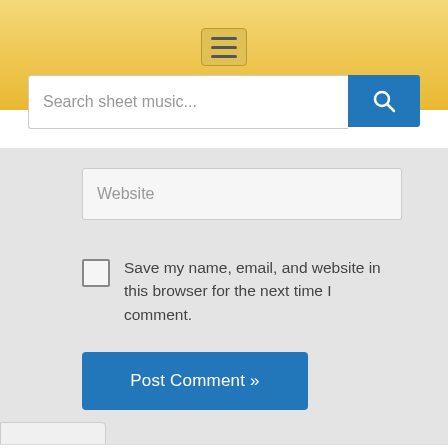[Figure (screenshot): Website header with gold/yellow gradient background and hamburger menu icon centered at top]
[Figure (screenshot): Search bar with placeholder text 'Search sheet music...' and blue search button with magnifier icon]
Website
Save my name, email, and website in this browser for the next time I comment.
Post Comment »
[Figure (screenshot): Advertisement banner: Walk-Ins Available - Hair Cuttery with HC logo and navigation arrow icon]